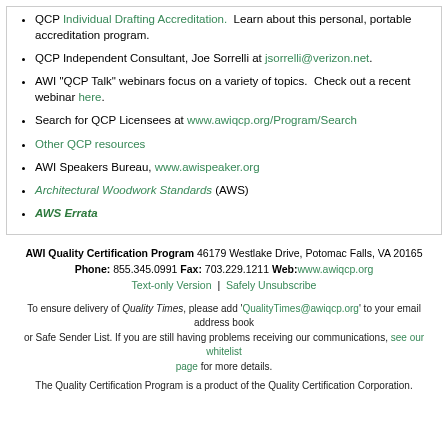QCP Individual Drafting Accreditation. Learn about this personal, portable accreditation program.
QCP Independent Consultant, Joe Sorrelli at jsorrelli@verizon.net.
AWI "QCP Talk" webinars focus on a variety of topics. Check out a recent webinar here.
Search for QCP Licensees at www.awiqcp.org/Program/Search
Other QCP resources
AWI Speakers Bureau, www.awispeaker.org
Architectural Woodwork Standards (AWS)
AWS Errata
AWI Quality Certification Program 46179 Westlake Drive, Potomac Falls, VA 20165 Phone: 855.345.0991 Fax: 703.229.1211 Web: www.awiqcp.org Text-only Version | Safely Unsubscribe
To ensure delivery of Quality Times, please add 'QualityTimes@awiqcp.org' to your email address book or Safe Sender List. If you are still having problems receiving our communications, see our whitelist page for more details.
The Quality Certification Program is a product of the Quality Certification Corporation.